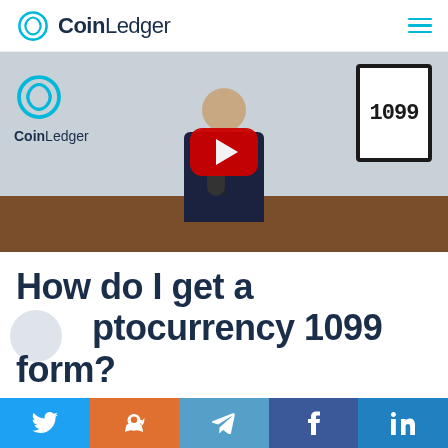CoinLedger
[Figure (screenshot): YouTube video thumbnail showing a man in a dark shirt sitting at a desk with a CoinLedger logo on the left and a '1099' sign on the right, with a red YouTube play button overlay]
How do I get a cryptocurrency 1099 form?
[Figure (infographic): Social share bar with Twitter (blue), Reddit (orange), Telegram (light blue), Facebook (dark blue), and LinkedIn (medium blue) icons]